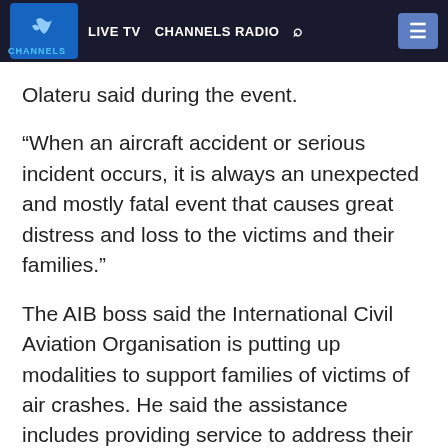LIVE TV  CHANNELS RADIO
Olateru said during the event.
“When an aircraft accident or serious incident occurs, it is always an unexpected and mostly fatal event that causes great distress and loss to the victims and their families.”
The AIB boss said the International Civil Aviation Organisation is putting up modalities to support families of victims of air crashes. He said the assistance includes providing service to address their concerns.
READ ALSO: ‘You Have Not Been Forgotten’, Osinbajo Tells Niger Delta Region